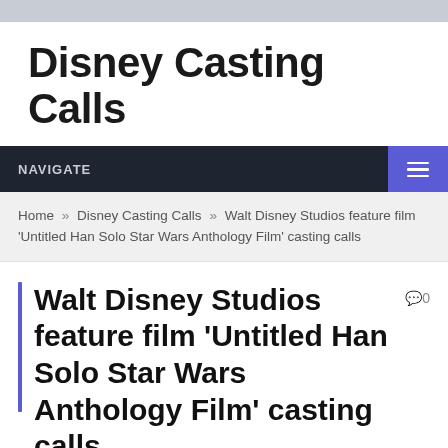Disney Casting Calls
NAVIGATE
Home » Disney Casting Calls » Walt Disney Studios feature film 'Untitled Han Solo Star Wars Anthology Film' casting calls
Walt Disney Studios feature film 'Untitled Han Solo Star Wars Anthology Film' casting calls
BY B A ON DECEMBER 22, 2016    DISNEY CASTING CALLS